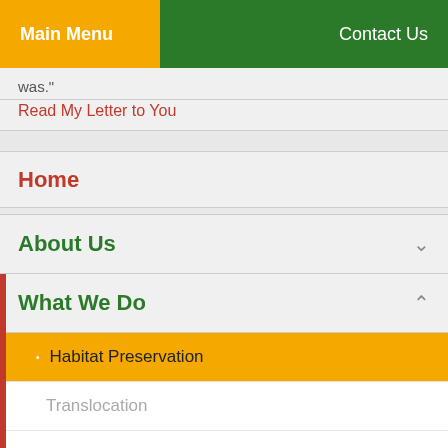Main Menu | Contact Us
was."
Read My Letter to You
Home
About Us
What We Do
Habitat Preservation
Translocation
Advocacy
Research